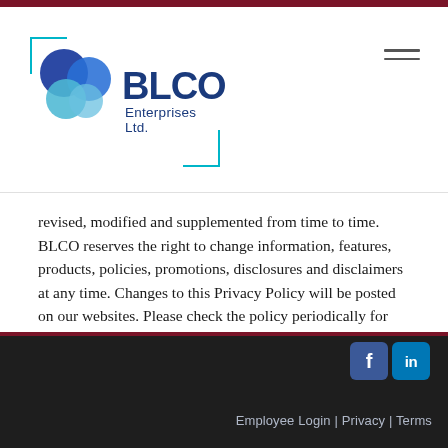[Figure (logo): BLCO Enterprises Ltd. logo with overlapping blue circles and teal bracket corner decorations]
revised, modified and supplemented from time to time. BLCO reserves the right to change information, features, products, policies, promotions, disclosures and disclaimers at any time. Changes to this Privacy Policy will be posted on our websites. Please check the policy periodically for changes. At the top of the policy, we indicate the date of an update to the Privacy Policy. The continued use of the BLCO website following the posting of changes to this Privacy Policy will mean you accept those changes.
Employee Login | Privacy | Terms